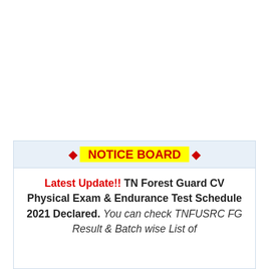◆ NOTICE BOARD ◆
Latest Update!! TN Forest Guard CV Physical Exam & Endurance Test Schedule 2021 Declared. You can check TNFUSRC FG Result & Batch wise List of